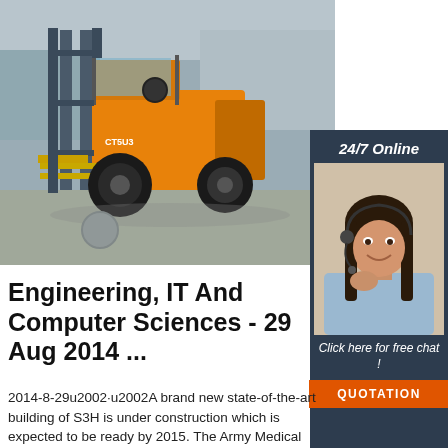[Figure (photo): Orange forklift truck parked outdoors on a concrete surface, with a warehouse/industrial background. The forklift has yellow fork mast and blue-grey body with orange exterior panels.]
[Figure (photo): Dark navy sidebar panel showing '24/7 Online' text, a female customer service operator wearing a headset and smiling, text 'Click here for free chat!' and an orange button labeled 'QUOTATION'.]
Engineering, IT And Computer Sciences - 29 Aug 2014 ...
2014-8-29u2002·u2002A brand new state-of-the-art building of S3H is under construction which is expected to be ready by 2015. The Army Medical College was established at Rawalpindi in 1977 as a residential